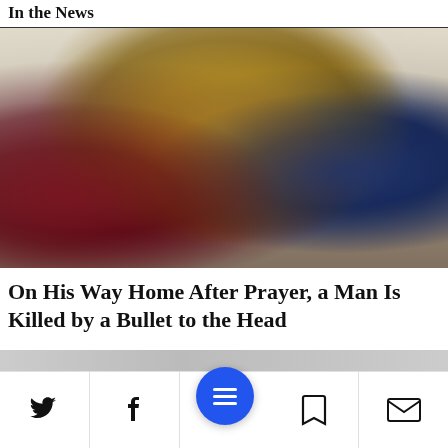In the News
[Figure (photo): Blurred photo showing two people seated at a desk with bullet casings/shell casings displayed in the foreground on the desk. A man in a red shirt is on the left and a woman in a blue top with a hijab is seated behind the desk on the right.]
On His Way Home After Prayer, a Man Is Killed by a Bullet to the Head
[Figure (other): Bottom navigation bar with Twitter, Facebook, hamburger menu (blue circle FAB), bookmark, and email icons]